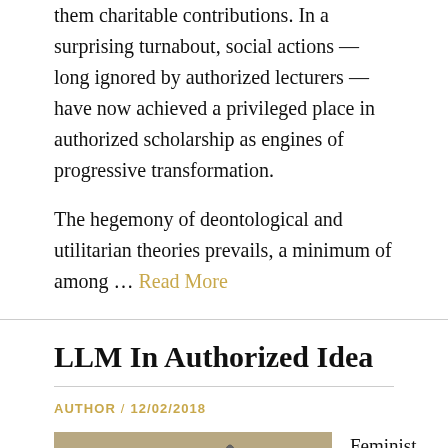them charitable contributions. In a surprising turnabout, social actions — long ignored by authorized lecturers — have now achieved a privileged place in authorized scholarship as engines of progressive transformation.
The hegemony of deontological and utilitarian theories prevails, a minimum of among … Read More
LLM In Authorized Idea
AUTHOR / 12/02/2018
[Figure (photo): Photo showing several people seated at a table or panel, appearing to be at a conference or hearing.]
Feminist authorized